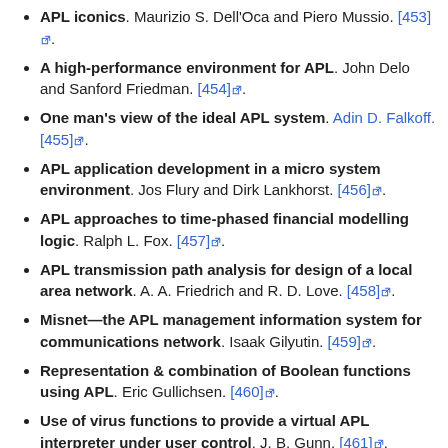APL iconics. Maurizio S. Dell'Oca and Piero Mussio. [453].
A high-performance environment for APL. John Delo and Sanford Friedman. [454].
One man's view of the ideal APL system. Adin D. Falkoff. [455].
APL application development in a micro system environment. Jos Flury and Dirk Lankhorst. [456].
APL approaches to time-phased financial modelling logic. Ralph L. Fox. [457].
APL transmission path analysis for design of a local area network. A. A. Friedrich and R. D. Love. [458].
Misnet—the APL management information system for communications network. Isaak Gilyutin. [459].
Representation & combination of Boolean functions using APL. Eric Gullichsen. [460].
Use of virus functions to provide a virtual APL interpreter under user control. J. B. Gunn. [461].
Computational geometry with APL. Stig Gustafsson. [462].
An APL approach to differential equations. Garry Helzer. [463].